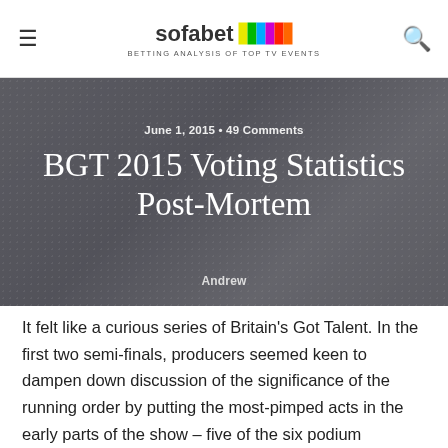sofabet — BETTING ANALYSIS OF TOP TV EVENTS
[Figure (photo): Hero image background with overlaid dotted pattern showing silhouetted people, with title overlay]
June 1, 2015 • 49 Comments
BGT 2015 Voting Statistics Post-Mortem
Andrew
It felt like a curious series of Britain's Got Talent. In the first two semi-finals, producers seemed keen to dampen down discussion of the significance of the running order by putting the most-pimped acts in the early parts of the show – five of the six podium finishers were among the first five of nine acts to perform, most untypically for BGT.